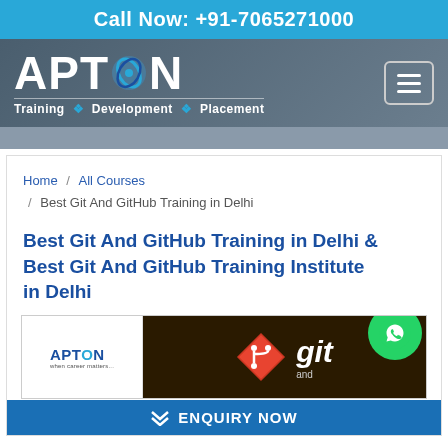Call Now: +91-7065271000
[Figure (logo): APTRON logo with tagline Training Development Placement on dark blue-gray background with hamburger menu icon]
Home / All Courses / Best Git And GitHub Training in Delhi
Best Git And GitHub Training in Delhi & Best Git And GitHub Training Institute in Delhi
[Figure (screenshot): Course banner image showing APTRON logo on white, git diamond logo with 'git and' text on dark background, and a document image, overlaid with WhatsApp contact button]
ENQUIRY NOW